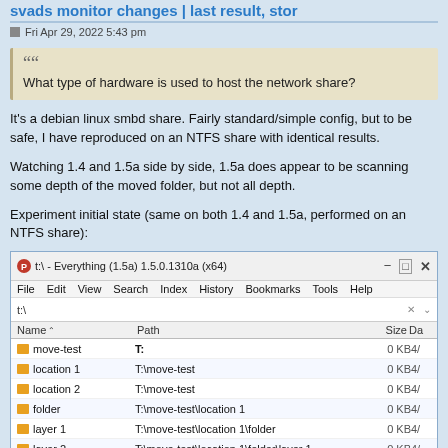svads monitor changes | last result, stor
Fri Apr 29, 2022 5:43 pm
What type of hardware is used to host the network share?
It's a debian linux smbd share. Fairly standard/simple config, but to be safe, I have reproduced on an NTFS share with identical results.
Watching 1.4 and 1.5a side by side, 1.5a does appear to be scanning some depth of the moved folder, but not all depth.
Experiment initial state (same on both 1.4 and 1.5a, performed on an NTFS share):
[Figure (screenshot): Windows Explorer-style Everything 1.5a file search application showing t:\ drive contents with folders: move-test (T:), location 1 (T:\move-test), location 2 (T:\move-test), folder (T:\move-test\location 1), layer 1 (T:\move-test\location 1\folder), layer 2 (T:\move-test\location 1\folder\layer 1), layer 3 (T:\move-test\location 1\folder\layer 1\layer 2), layer 4 (T:\move-test\location 1\folder\layer 1\layer 2\layer 3). All 0 KB.]